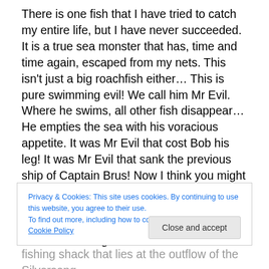There is one fish that I have tried to catch my entire life, but I have never succeeded. It is a true sea monster that has, time and time again, escaped from my nets. This isn't just a big roachfish either… This is pure swimming evil! We call him Mr Evil. Where he swims, all other fish disappear… He empties the sea with his voracious appetite. It was Mr Evil that cost Bob his leg! It was Mr Evil that sank the previous ship of Captain Brus! Now I think you might understand why I am asking you, Rita, Jorvik's best fisherman, to once and for all stop Mr Evil's rampage. Are you ready to catch Jorvik's ugliest fish?
Privacy & Cookies: This site uses cookies. By continuing to use this website, you agree to their use.
To find out more, including how to control cookies, see here: Cookie Policy
fishing shack that lies at the outflow of the Silversong